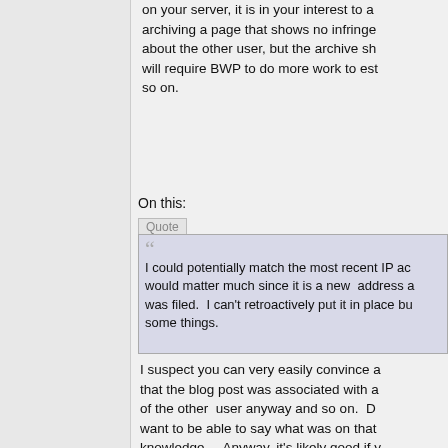on your server, it is in your interest to a... archiving a page that shows no infringe... about the other user, but the archive sh... will require BWP to do more work to est... so on.
On this:
Quote
I could potentially match the most recent IP ac... would matter much since it is a new address a... was filed. I can't retroactively put it in place bu... some things.
I suspect you can very easily convince a... that the blog post was associated with a... of the other user anyway and so on. D... want to be able to say what was on that... knowledge. Anyway, it's likely good if y... get sued, you'll want to show that to you... the case. Or it might not. I don't know. ... been wise for you. But that's water unde...
Quote